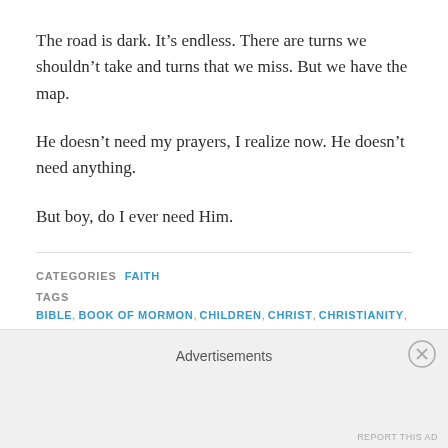The road is dark. It’s endless. There are turns we shouldn’t take and turns that we miss. But we have the map.
He doesn’t need my prayers, I realize now. He doesn’t need anything.
But boy, do I ever need Him.
CATEGORIES FAITH
TAGS BIBLE, BOOK OF MORMON, CHILDREN, CHRIST, CHRISTIANITY, DIRECTION, FAITH, FAMILY, FRIENDS, GOD, GUIDANCE, MORMON, PRAYER, SCRIPTURES
Advertisements